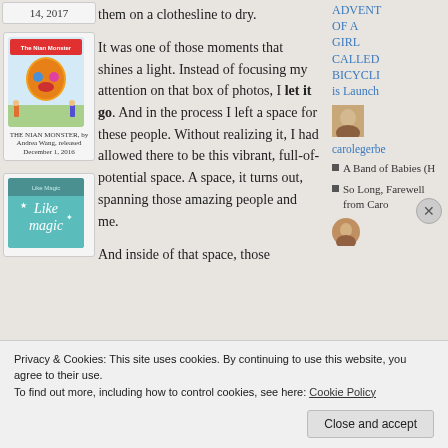14, 2017
[Figure (illustration): Book cover for The Nian Monster by Andrea Wang, colorful children's book illustration]
THE NIAN MONSTER, by Andrea Wang, released December 1, 2016
them on a clothesline to dry.

It was one of those moments that shines a light. Instead of focusing my attention on that box of photos, I let it go. And in the process I left a space for these people. Without realizing it, I had allowed there to be this vibrant, full-of-potential space. A space, it turns out, spanning those amazing people and me.

And inside of that space, those
ADVENTURES OF A GIRL CALLED BICYCLE is Launched
carolegerbe
A Band of Babies (H
So Long, Farewell from Caro
[Figure (photo): Small avatar photo of a person]
[Figure (illustration): Book cover for Like Magic, teal/turquoise children's book]
Privacy & Cookies: This site uses cookies. By continuing to use this website, you agree to their use.
To find out more, including how to control cookies, see here: Cookie Policy
Close and accept